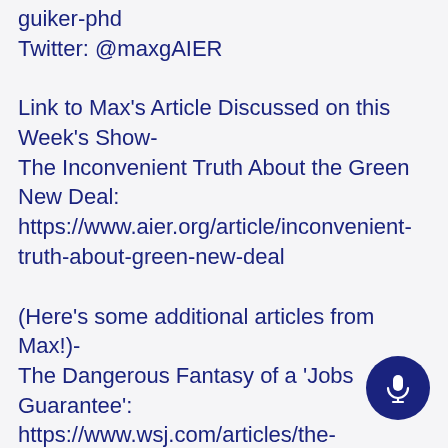guiker-phd
Twitter: @maxgAIER
Link to Max's Article Discussed on this Week's Show-
The Inconvenient Truth About the Green New Deal:
https://www.aier.org/article/inconvenient-truth-about-green-new-deal
(Here's some additional articles from Max!)-
The Dangerous Fantasy of a 'Jobs Guarantee':
https://www.wsj.com/articles/the-dangerous-fantasy-of-a-jobs-guarantee-1542220737